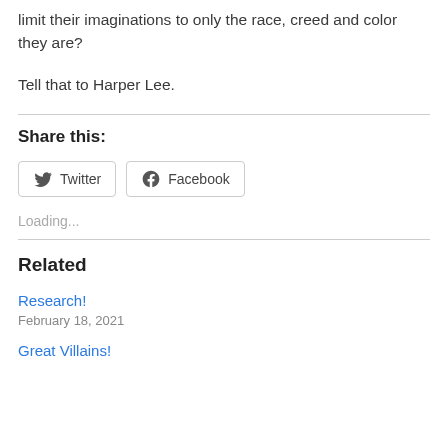limit their imaginations to only the race, creed and color they are?
Tell that to Harper Lee.
Share this:
Loading...
Related
Research!
February 18, 2021
Great Villains!